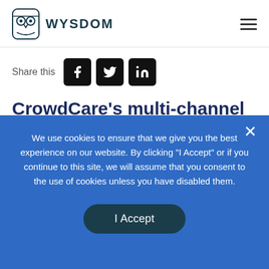[Figure (logo): Wysdom owl logo with text WYSDOM]
Share this
CrowdCare's multi-channel enterprise Bot solution is now available in Canadian English
We use cookies to ensure that we give you the best experience on our website. By clicking "I Accept" or if you continue to this site, we will assume that you consent to the use of cookies unless you have disabled them.